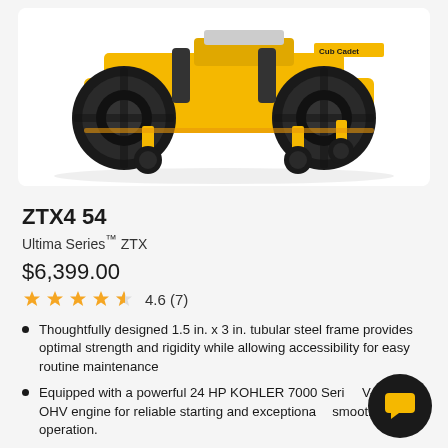[Figure (photo): Yellow Cub Cadet ZTX4 54 zero-turn riding lawn mower on white background, showing rear/side view with large rear tires, yellow body, caster wheels in front]
ZTX4 54
Ultima Series™ ZTX
$6,399.00
4.6 (7)
Thoughtfully designed 1.5 in. x 3 in. tubular steel frame provides optimal strength and rigidity while allowing accessibility for easy routine maintenance
Equipped with a powerful 24 HP KOHLER 7000 Series V-twin OHV engine for reliable starting and exceptionally smooth, quiet operation.
Commercial-grade dual Hydro-Gear® ZT-3100 hydrostatic